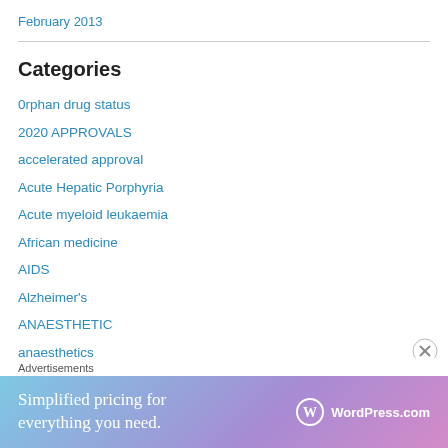February 2013
Categories
0rphan drug status
2020 APPROVALS
accelerated approval
Acute Hepatic Porphyria
Acute myeloid leukaemia
African medicine
AIDS
Alzheimer's
ANAESTHETIC
anaesthetics
analgesic
[Figure (infographic): WordPress.com advertisement banner: 'Simplified pricing for everything you need.' with WordPress.com logo on gradient blue-purple-pink background.]